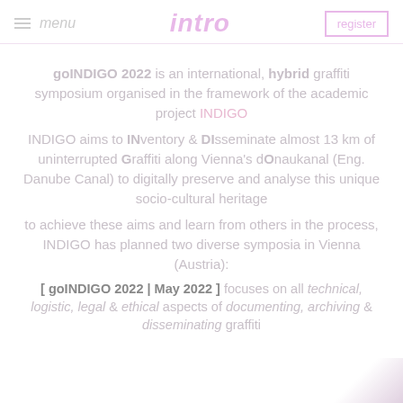menu | intro | register
goINDIGO 2022 is an international, hybrid graffiti symposium organised in the framework of the academic project INDIGO
INDIGO aims to INventory & DIsseminate almost 13 km of uninterrupted Graffiti along Vienna's dOnaukanal (Eng. Danube Canal) to digitally preserve and analyse this unique socio-cultural heritage
to achieve these aims and learn from others in the process, INDIGO has planned two diverse symposia in Vienna (Austria):
[ goINDIGO 2022 | May 2022 ] focuses on all technical, logistic, legal & ethical aspects of documenting, archiving & disseminating graffiti